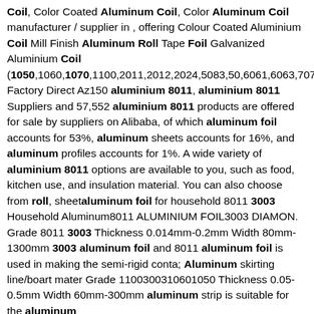Coil, Color Coated Aluminum Coil, Color Aluminum Coil manufacturer / supplier in , offering Colour Coated Aluminium Coil Mill Finish Aluminum Roll Tape Foil Galvanized Aluminium Coil (1050,1060,1070,1100,2011,2012,2024,5083,50,6061,6063,7075,8 Factory Direct Az150 aluminium 8011, aluminium 8011 Suppliers and 57,552 aluminium 8011 products are offered for sale by suppliers on Alibaba, of which aluminum foil accounts for 53%, aluminum sheets accounts for 16%, and aluminum profiles accounts for 1%. A wide variety of aluminium 8011 options are available to you, such as food, kitchen use, and insulation material. You can also choose from roll, sheetaluminum foil for household 8011 3003 Household Aluminum8011 ALUMINIUM FOIL3003 DIAMON. Grade 8011 3003 Thickness 0.014mm-0.2mm Width 80mm-1300mm 3003 aluminum foil and 8011 aluminum foil is used in making the semi-rigid conta; Aluminum skirting line/boart mater Grade 1100300310601050 Thickness 0.05-0.5mm Width 60mm-300mm aluminum strip is suitable for the aluminum aluminum foil for household 8011 3003 Household Aluminum8011 ALUMINIUM FOIL3003 DIAMON. Grade 8011 3003 Thickness 0.014mm-0.2mm Width 80mm-1300mm 3003 aluminum foil and 8011 aluminum foil is used in making